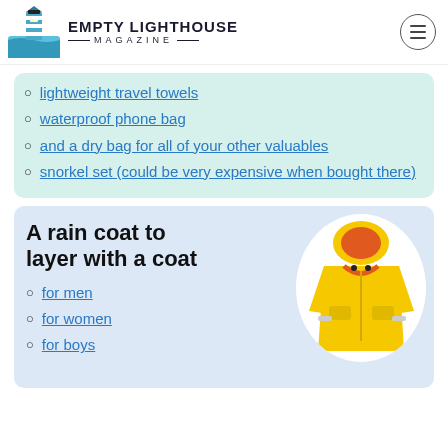EMPTY LIGHTHOUSE MAGAZINE
lightweight travel towels
waterproof phone bag
and a dry bag for all of your other valuables
snorkel set (could be very expensive when bought there)
A rain coat to layer with a coat
[Figure (photo): Yellow children's rain jacket/coat with red lining and reflective strips, displayed against a white oval background]
for men
for women
for boys